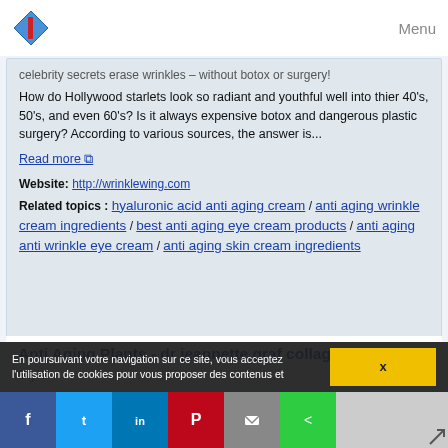Menu
...celebrity secrets erase wrinkles – without botox or surgery!
How do Hollywood starlets look so radiant and youthful well into thier 40's, 50's, and even 60's? Is it always expensive botox and dangerous plastic surgery? According to various sources, the answer is...
Read more ↗
Website: http://wrinklewing.com
Related topics : hyaluronic acid anti aging cream / anti aging wrinkle cream ingredients / best anti aging eye cream products / anti aging anti wrinkle eye cream / anti aging skin cream ingredients
Anti Aging Plants - dr jeannette graf collagen eye creme
Style
En poursuivant votre navigation sur ce site, vous acceptez l'utilisation de cookies pour vous proposer des contenus et
x